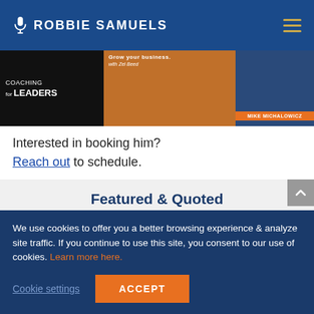ROBBIE SAMUELS
[Figure (screenshot): Three podcast thumbnail images: Coaching for Leaders (black background), Grow your business with Zel Beed (orange background), and Mike Michalowicz episode (blue background)]
Interested in booking him?
Reach out to schedule.
Featured & Quoted
We use cookies to offer you a better browsing experience & analyze site traffic. If you continue to use this site, you consent to our use of cookies. Learn more here.
Cookie settings   ACCEPT